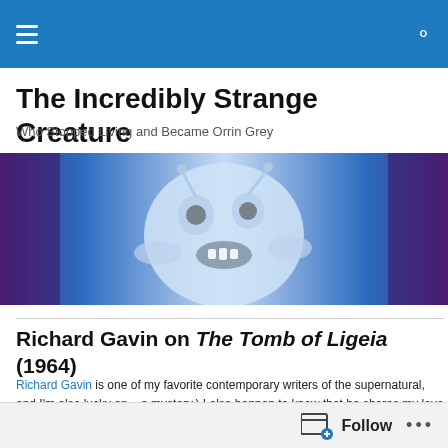Navigation bar with hamburger menu and search icon
The Incredibly Strange Creature
Who Stopped Living and Became Orrin Grey
[Figure (illustration): Horizontal banner image showing a pale ghostly monster creature with large eyes and open mouth, against a purple and blue background]
Richard Gavin on The Tomb of Ligeia (1964)
Richard Gavin is one of my favorite contemporary writers of the supernatural, and I'm also lucky en... a mystery.) I also happen to know that he shares my love of a good Vincent Price movie (is there ar... this countdown, he was more than happy to wax poetic on The Tomb of Ligeia:
***
I never celebrate Halloween without Vincent Price.  His presence is as requisite in my home as carv... participate in this list of suggested viewing for All-Hallow's, my confirmation was instant.  The only d... Price's long and impressive filmography.
Follow